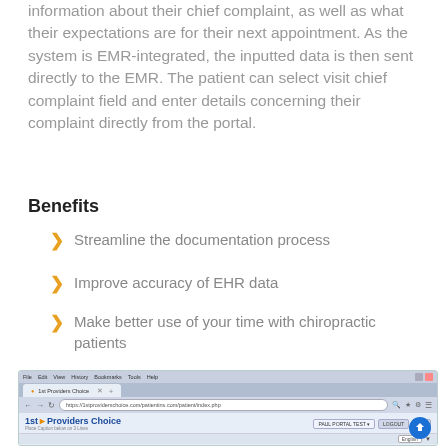information about their chief complaint, as well as what their expectations are for their next appointment. As the system is EMR-integrated, the inputted data is then sent directly to the EMR. The patient can select visit chief complaint field and enter details concerning their complaint directly from the portal.
Benefits
Streamline the documentation process
Improve accuracy of EHR data
Make better use of your time with chiropractic patients
[Figure (screenshot): Browser screenshot of 1st Providers Choice patient portal showing Chief Complaint selection interface with checkboxes for Head, Neck, pain location options including Bilateral neck and Right neck. Social media sharing icons (Facebook, Twitter, email, print) visible. A blue circular scroll-to-top button appears in the bottom right.]